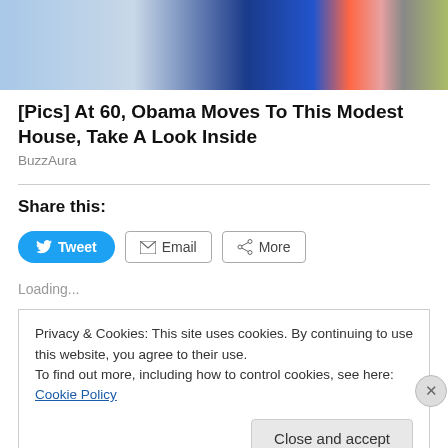[Figure (photo): Partial photo showing two people, one in a blue top with orange strap]
[Pics] At 60, Obama Moves To This Modest House, Take A Look Inside
BuzzAura
Share this:
Loading...
Privacy & Cookies: This site uses cookies. By continuing to use this website, you agree to their use.
To find out more, including how to control cookies, see here: Cookie Policy